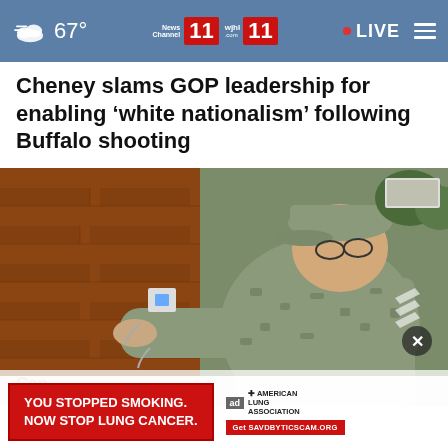67° News Channel 11 wjhl.com 11 LIVE
Cheney slams GOP leadership for enabling ‘white nationalism’ following Buffalo shooting
[Figure (photo): Military serviceman in camouflage uniform and cap working on something attached to a brick wall, leaning close to examine it]
Can                                                                                 gn
Up t                                                                            p
[Figure (infographic): Advertisement banner: red background with white text reading YOU STOPPED SMOKING. NOW STOP LUNG CANCER. American Lung Association logo with Get SAVDBYTICSCAM.ORG button]